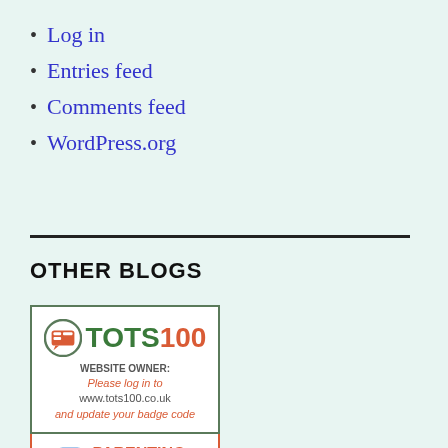Log in
Entries feed
Comments feed
WordPress.org
OTHER BLOGS
[Figure (logo): TOTS100 badge with website owner notice and Parenting Influencer Instagram badge]